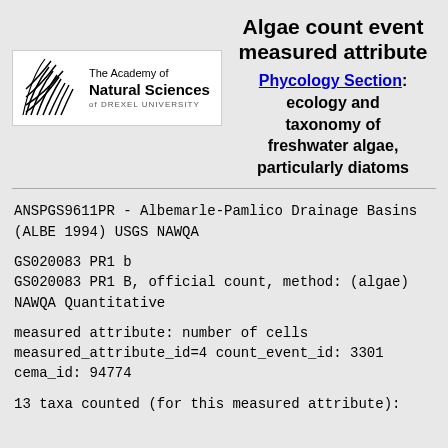Algae count event measured attribute
[Figure (logo): The Academy of Natural Sciences of Drexel University logo with decorative wave/plant graphic]
Phycology Section: ecology and taxonomy of freshwater algae, particularly diatoms
ANSPGS9611PR - Albemarle-Pamlico Drainage Basins (ALBE 1994) USGS NAWQA
GS020083 PR1 b
GS020083 PR1 B, official count, method: (algae) NAWQA Quantitative
measured attribute: number of cells
measured_attribute_id=4 count_event_id: 3301 cema_id: 94774
13 taxa counted (for this measured attribute):